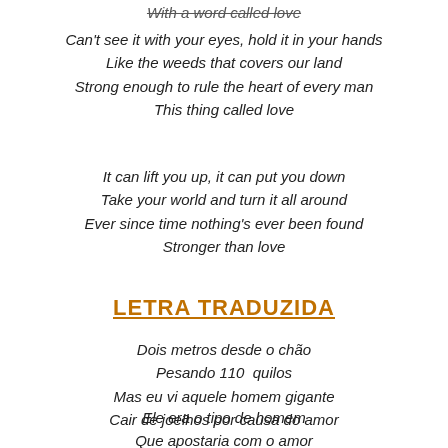With a word called love
Can't see it with your eyes, hold it in your hands
Like the weeds that covers our land
Strong enough to rule the heart of every man
This thing called love
It can lift you up, it can put you down
Take your world and turn it all around
Ever since time nothing's ever been found
Stronger than love
LETRA TRADUZIDA
Dois metros desde o chão
Pesando 110  quilos
Mas eu vi aquele homem gigante
Cair de joelhos por causa do amor
Ele era o tipo de homem
Que apostaria com o amor
Olharia nos seus olhos e nunca hesitaria